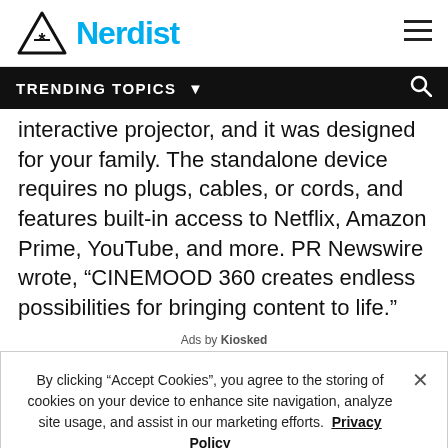Nerdist
TRENDING TOPICS
interactive projector, and it was designed for your family. The standalone device requires no plugs, cables, or cords, and features built-in access to Netflix, Amazon Prime, YouTube, and more. PR Newswire wrote, "CINEMOOD 360 creates endless possibilities for bringing content to life."
Ads by Kiosked
By clicking “Accept Cookies”, you agree to the storing of cookies on your device to enhance site navigation, analyze site usage, and assist in our marketing efforts.  Privacy Policy
Cookies Settings
Accept Cookies